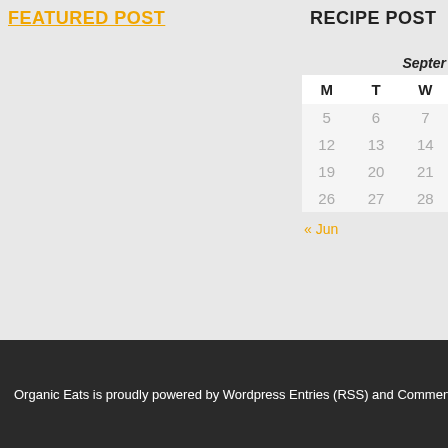FEATURED POST
RECIPE POST
| M | T | W |
| --- | --- | --- |
| 5 | 6 | 7 |
| 12 | 13 | 14 |
| 19 | 20 | 21 |
| 26 | 27 | 28 |
« Jun
Organic Eats is proudly powered by Wordpress Entries (RSS) and Comments (RSS)